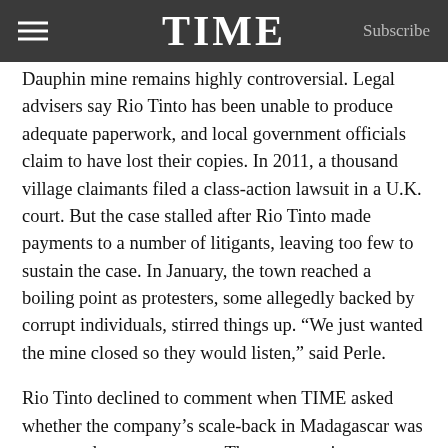TIME  Subscribe
Dauphin mine remains highly controversial. Legal advisers say Rio Tinto has been unable to produce adequate paperwork, and local government officials claim to have lost their copies. In 2011, a thousand village claimants filed a class-action lawsuit in a U.K. court. But the case stalled after Rio Tinto made payments to a number of litigants, leaving too few to sustain the case. In January, the town reached a boiling point as protesters, some allegedly backed by corrupt individuals, stirred things up. “We just wanted the mine closed so they would listen,” said Perle.
Rio Tinto declined to comment when TIME asked whether the company’s scale-back in Madagascar was connected to recent unrest. The company is not expected to give up on Fort Dauphin anytime soon — the town is now secured by a heavy military presence — and it’s unlikely that locals would be better off if it did. “If Rio sold up here then Fort Dauphin wouldn’t know what’d hit it”